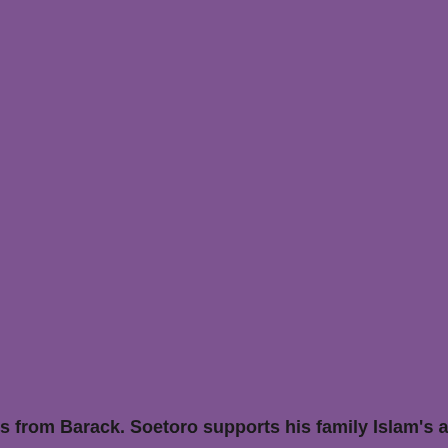[Figure (photo): Large solid purple/violet colored background filling most of the page]
s from Barack. Soetoro supports his family Islam's aweso